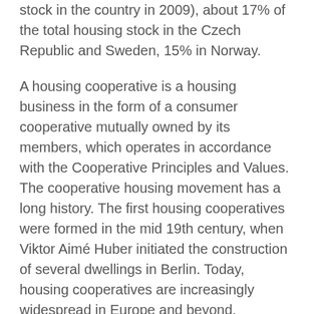stock in the country in 2009), about 17% of the total housing stock in the Czech Republic and Sweden, 15% in Norway.
A housing cooperative is a housing business in the form of a consumer cooperative mutually owned by its members, which operates in accordance with the Cooperative Principles and Values. The cooperative housing movement has a long history. The first housing cooperatives were formed in the mid 19th century, when Viktor Aimé Huber initiated the construction of several dwellings in Berlin. Today, housing cooperatives are increasingly widespread in Europe and beyond.
There are different cooperative housing models in the different countries, but what characterises housing cooperatives compared to their housing providers is that they are jointly owned and democratically